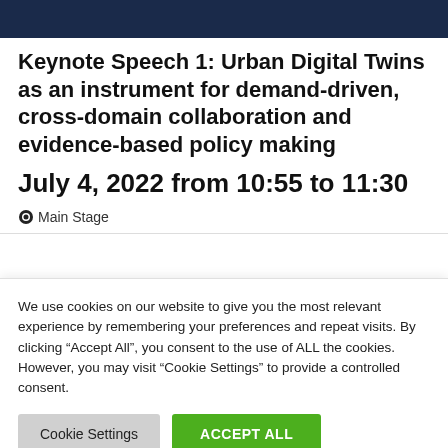Keynote Speech 1: Urban Digital Twins as an instrument for demand-driven, cross-domain collaboration and evidence-based policy making
July 4, 2022 from 10:55 to 11:30
Main Stage
We use cookies on our website to give you the most relevant experience by remembering your preferences and repeat visits. By clicking “Accept All”, you consent to the use of ALL the cookies. However, you may visit “Cookie Settings” to provide a controlled consent.
Cookie Settings | Accept All